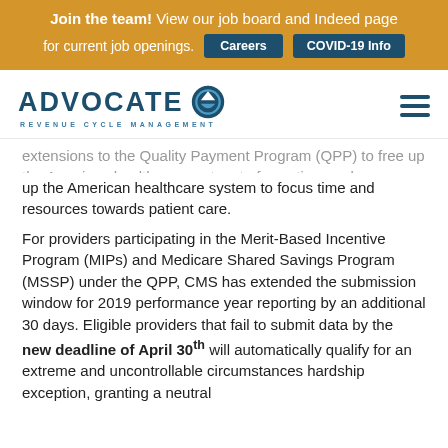Join the team! View our job board and Indeed page for current job openings. [Careers] [COVID-19 Info]
[Figure (logo): Advocate Revenue Cycle Management logo with circular badge icon]
extensions to the Quality Payment Program (QPP) to free up the American healthcare system to focus time and resources towards patient care.
For providers participating in the Merit-Based Incentive Program (MIPs) and Medicare Shared Savings Program (MSSP) under the QPP, CMS has extended the submission window for 2019 performance year reporting by an additional 30 days. Eligible providers that fail to submit data by the new deadline of April 30th will automatically qualify for an extreme and uncontrollable circumstances hardship exception, granting a neutral payment adjustment in the 2021 payment year. This would